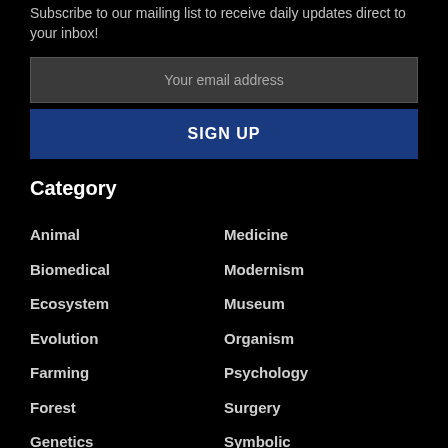Subscribe to our mailing list to receive daily updates direct to your inbox!
Your email address
SIGN UP
Category
Animal
Biomedical
Ecosystem
Evolution
Farming
Forest
Genetics
Imagination
Medicine
Modernism
Museum
Organism
Psychology
Surgery
Symbolic
Tropical